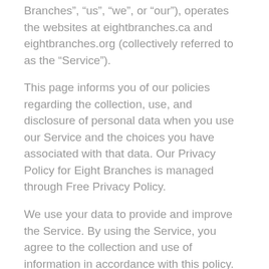Branches", “us”, “we”, or “our”), operates the websites at eightbranches.ca and eightbranches.org (collectively referred to as the “Service”).
This page informs you of our policies regarding the collection, use, and disclosure of personal data when you use our Service and the choices you have associated with that data. Our Privacy Policy for Eight Branches is managed through Free Privacy Policy.
We use your data to provide and improve the Service. By using the Service, you agree to the collection and use of information in accordance with this policy.
Information Collection And Use
We collect several different types of information for